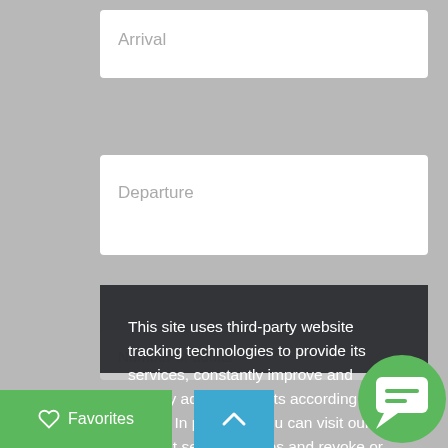Arrival
Departure
Number of adults
This site uses third-party website tracking technologies to provide its services, constantly improve and display advertisements according to users. In principle, you can visit our site without setting cookies and revoke or change your consent at any time with effect for the future. more infos
Allow cookies
Favorites
Message